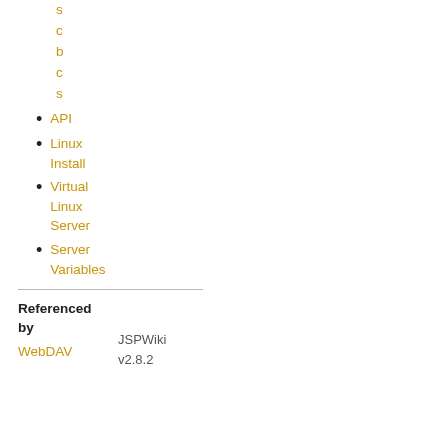s
c
b
c
s
API
Linux Install
Virtual Linux Server
Server Variables
Referenced by
WebDAV
JSPWiki
v2.8.2